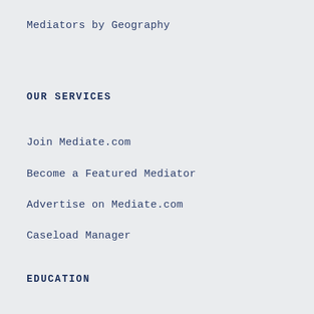Mediators by Geography
OUR SERVICES
Join Mediate.com
Become a Featured Mediator
Advertise on Mediate.com
Caseload Manager
EDUCATION
Mediate University
Arbitrate University
ABOUT US